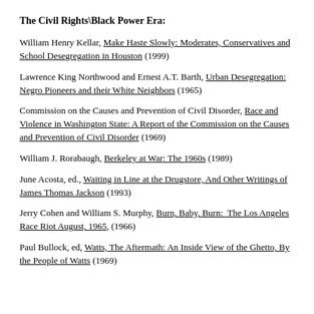The Civil Rights\Black Power Era:
William Henry Kellar, Make Haste Slowly: Moderates, Conservatives and School Desegregation in Houston (1999)
Lawrence King Northwood and Ernest A.T. Barth, Urban Desegregation: Negro Pioneers and their White Neighbors (1965)
Commission on the Causes and Prevention of Civil Disorder, Race and Violence in Washington State: A Report of the Commission on the Causes and Prevention of Civil Disorder (1969)
William J. Rorabaugh, Berkeley at War: The 1960s (1989)
June Acosta, ed., Waiting in Line at the Drugstore, And Other Writings of James Thomas Jackson (1993)
Jerry Cohen and William S. Murphy, Burn, Baby, Burn: The Los Angeles Race Riot August, 1965, (1966)
Paul Bullock, ed, Watts, The Aftermath: An Inside View of the Ghetto, By the People of Watts (1969)